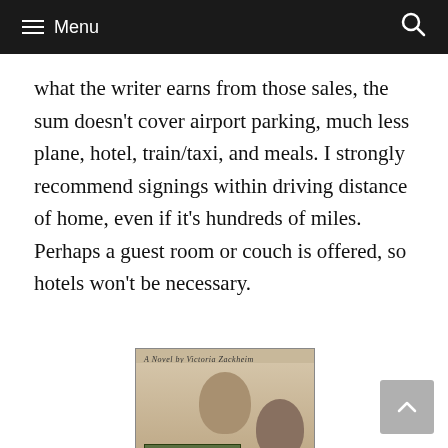Menu
what the writer earns from those sales, the sum doesn't cover airport parking, much less plane, hotel, train/taxi, and meals. I strongly recommend signings within driving distance of home, even if it's hundreds of miles. Perhaps a guest room or couch is offered, so hotels won't be necessary.
[Figure (photo): Book cover of 'The Bone Weaver', a novel by Victoria Zackheim, showing vintage portrait photographs and a green landscape band, with a Photobucket watermark overlay.]